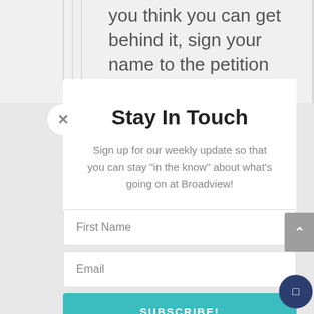you think you can get behind it, sign your name to the petition (located in the
Stay In Touch
Sign up for our weekly update so that you can stay "in the know" about what's going on at Broadview!
First Name
Email
SUBSCRIBE!